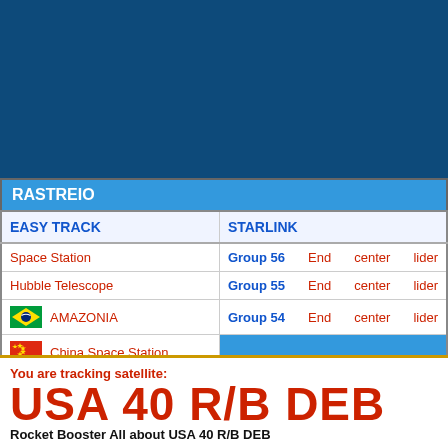[Figure (screenshot): Dark blue background header area (satellite tracking app screenshot background)]
RASTREIO
| EASY TRACK | STARLINK |
| --- | --- |
| Space Station | Group 56   End   center   lider |
| Hubble Telescope | Group 55   End   center   lider |
| AMAZONIA | Group 54   End   center   lider |
| China Space Station |  |
You are tracking satellite:
USA 40 R/B DEB
Rocket Booster All about USA 40 R/B DEB